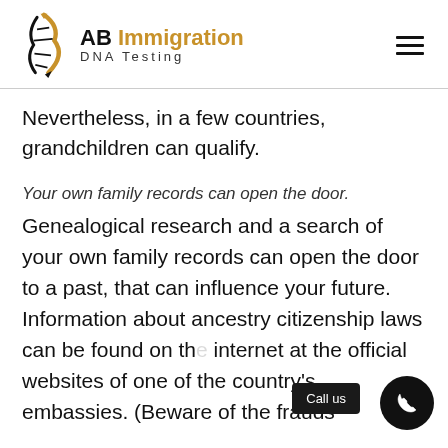AB Immigration DNA Testing
Nevertheless, in a few countries, grandchildren can qualify.
Your own family records can open the door.
Genealogical research and a search of your own family records can open the door to a past, that can influence your future. Information about ancestry citizenship laws can be found on the internet at the official websites of one of the country's embassies. (Beware of the frauds